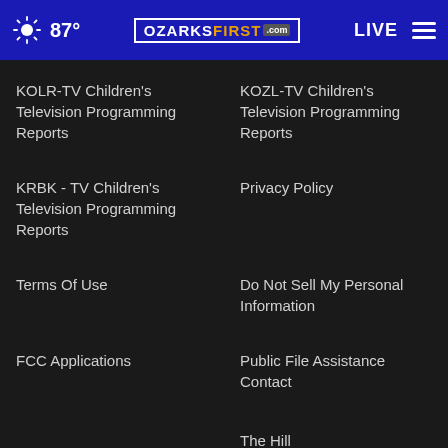87° | OZARKSFIRST.com | LIVE
KOLR-TV Children's Television Programming Reports
KOZL-TV Children's Television Programming Reports
KRBK - TV Children's Television Programming Reports
Privacy Policy
Terms Of Use
Do Not Sell My Personal Information
FCC Applications
Public File Assistance Contact
The Hill
NewsNation
BestReviews
Content Licensing
Nexstar Digital